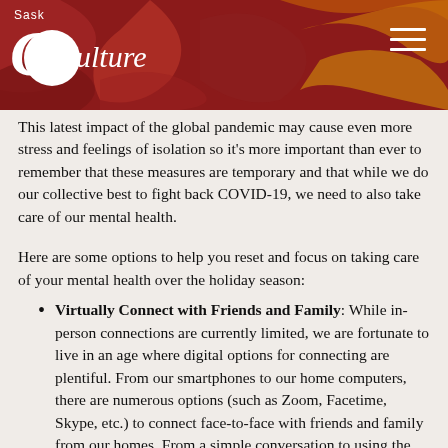SaskCulture
This latest impact of the global pandemic may cause even more stress and feelings of isolation so it's more important than ever to remember that these measures are temporary and that while we do our collective best to fight back COVID-19, we need to also take care of our mental health.
Here are some options to help you reset and focus on taking care of your mental health over the holiday season:
Virtually Connect with Friends and Family: While in-person connections are currently limited, we are fortunate to live in an age where digital options for connecting are plentiful. From our smartphones to our home computers, there are numerous options (such as Zoom, Facetime, Skype, etc.) to connect face-to-face with friends and family from our homes. From a simple conversation to using the time to play